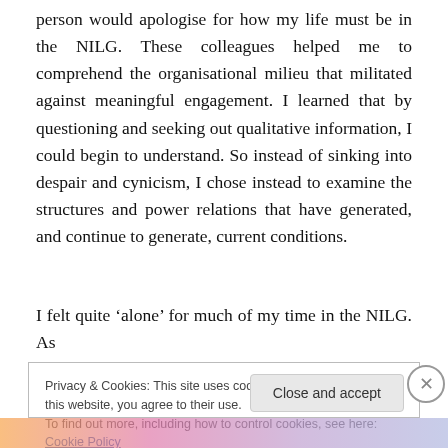person would apologise for how my life must be in the NILG. These colleagues helped me to comprehend the organisational milieu that militated against meaningful engagement. I learned that by questioning and seeking out qualitative information, I could begin to understand. So instead of sinking into despair and cynicism, I chose instead to examine the structures and power relations that have generated, and continue to generate, current conditions.
I felt quite ‘alone’ for much of my time in the NILG. As
Privacy & Cookies: This site uses cookies. By continuing to use this website, you agree to their use.
To find out more, including how to control cookies, see here: Cookie Policy